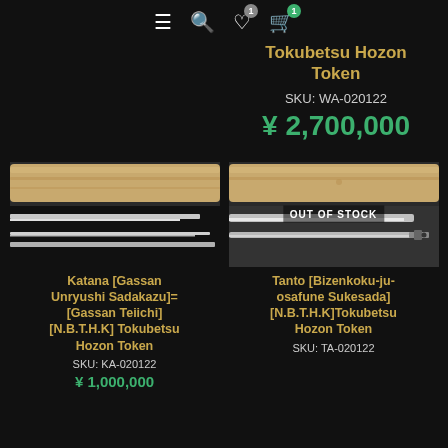[Figure (screenshot): E-commerce website navigation bar with hamburger menu, search icon, wishlist icon (badge: 1), and cart icon (badge: 1, green)]
Tokubetsu Hozon Token
SKU: WA-020122
¥ 2,700,000
[Figure (photo): Katana sword in shirasaya (plain wooden scabbard), shown from above with blade below]
Katana [Gassan Unryushi Sadakazu]=[Gassan Teiichi] [N.B.T.H.K] Tokubetsu Hozon Token
SKU: KA-020122
[Figure (photo): Tanto blade in shirasaya with OUT OF STOCK overlay label]
Tanto [Bizenkoku-ju-osafune Sukesada] [N.B.T.H.K]Tokubetsu Hozon Token
SKU: TA-020122